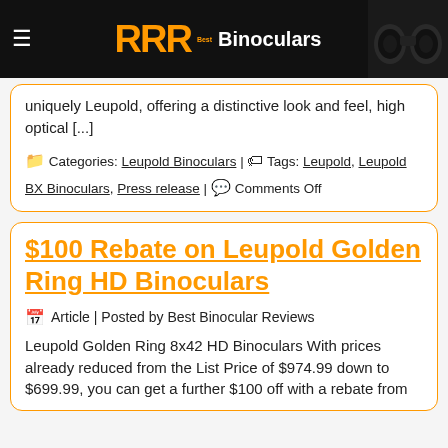RRR Best Binoculars
uniquely Leupold, offering a distinctive look and feel, high optical [...]
Categories: Leupold Binoculars | Tags: Leupold, Leupold BX Binoculars, Press release | Comments Off
$100 Rebate on Leupold Golden Ring HD Binoculars
Article | Posted by Best Binocular Reviews
Leupold Golden Ring 8x42 HD Binoculars With prices already reduced from the List Price of $974.99 down to $699.99, you can get a further $100 off with a rebate from